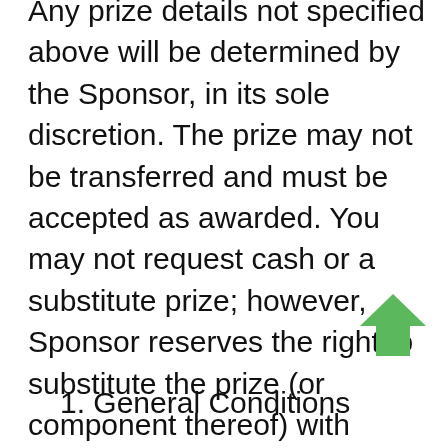Any prize details not specified above will be determined by the Sponsor, in its sole discretion. The prize may not be transferred and must be accepted as awarded. You may not request cash or a substitute prize; however, Sponsor reserves the right to substitute the prize (or component thereof) with another prize of equal or greater value if the prize is not available for any reason, as determined by Sponsor in its sole discretion.
[Figure (other): Green upward-pointing arrow icon]
1. General Conditions